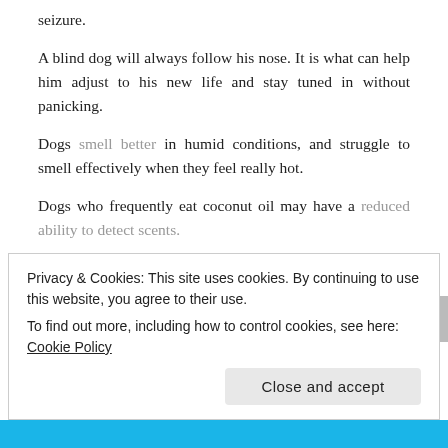seizure.
A blind dog will always follow his nose. It is what can help him adjust to his new life and stay tuned in without panicking.
Dogs smell better in humid conditions, and struggle to smell effectively when they feel really hot.
Dogs who frequently eat coconut oil may have a reduced ability to detect scents.
And canines diagnosed with hyperadrenocorticism, hypothyroidism, or diabetes can also struggle to use their nose as nature intended.
Next time you look at your pup’s snout, take a moment to appreciate its wonders that we will never experience or truly comprehend…And follow your dog’s nose.
Privacy & Cookies: This site uses cookies. By continuing to use this website, you agree to their use.
To find out more, including how to control cookies, see here: Cookie Policy
Close and accept